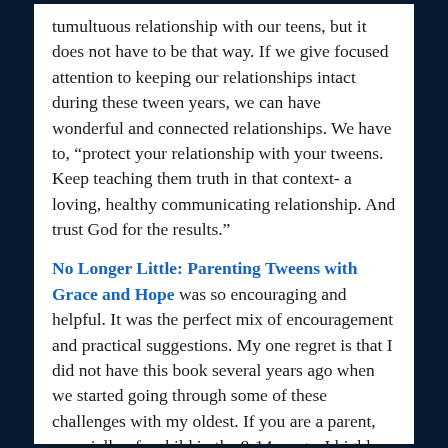tumultuous relationship with our teens, but it does not have to be that way. If we give focused attention to keeping our relationships intact during these tween years, we can have wonderful and connected relationships. We have to, “protect your relationship with your tweens. Keep teaching them truth in that context- a loving, healthy communicating relationship. And trust God for the results.”
No Longer Little: Parenting Tweens with Grace and Hope was so encouraging and helpful. It was the perfect mix of encouragement and practical suggestions. My one regret is that I did not have this book several years ago when we started going through some of these challenges with my oldest. If you are a parent, especially of a child in the 8-14 range, I highly encourage you to read this book. The strategies are practical,